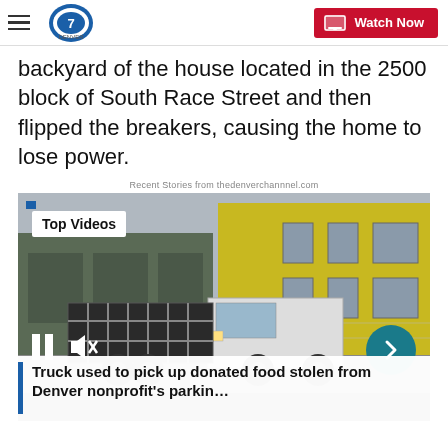Denver7 – Watch Now
backyard of the house located in the 2500 block of South Race Street and then flipped the breakers, causing the home to lose power.
Recent Stories from thedenverchannnel.com
[Figure (photo): Video player showing a flatbed truck with cage rack driving past a yellow-insulated building under construction. Overlays include 'Top Videos' badge, pause and mute controls, a next-arrow button, and a caption bar reading 'Truck used to pick up donated food stolen from Denver nonprofit's parkin...']